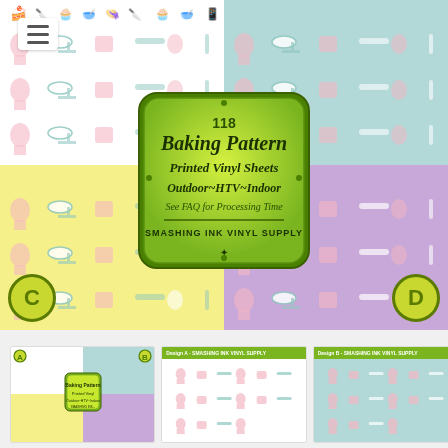[Figure (illustration): Product listing image for '118 Baking Pattern Printed Vinyl Sheets Outdoor HTV Indoor' by Smashing Ink Vinyl Supply. Shows four quadrant baking-themed pattern swatches: top-left white background, top-right teal/blue background, bottom-left yellow background, bottom-right purple background, all with pink and teal baking icons. Center badge label with product info. Bottom row shows three thumbnail product preview images.]